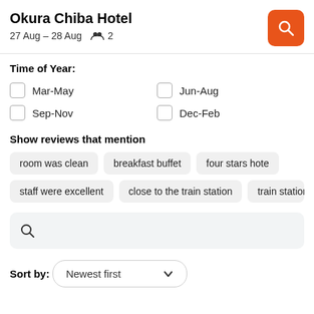Okura Chiba Hotel
27 Aug – 28 Aug  2
Time of Year:
Mar-May
Jun-Aug
Sep-Nov
Dec-Feb
Show reviews that mention
room was clean
breakfast buffet
four stars hote
staff were excellent
close to the train station
train station
Sort by:
Newest first